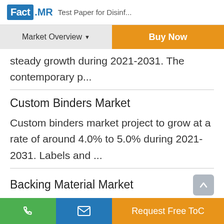Fact.MR  Test Paper for Disinf...
Market Overview  |  Buy Now
steady growth during 2021-2031. The contemporary p...
Custom Binders Market
Custom binders market project to grow at a rate of around 4.0% to 5.0% during 2021-2031. Labels and ...
Backing Material Market
Backing Material Market is set to witness steady...
Request Free ToC